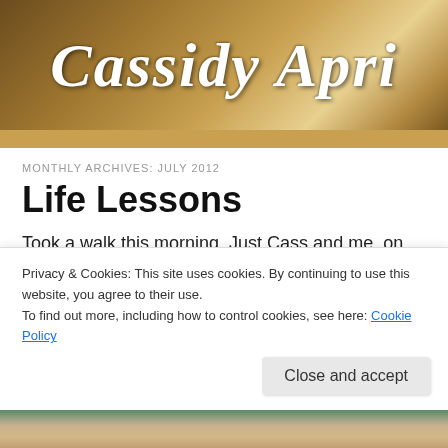Cassidy Apri
MONTHLY ARCHIVES: JULY 2012
Life Lessons
Took a walk this morning. Just Cass and me, on our peaceful road. She loves these excursions.
[Figure (photo): Outdoor photo showing blue sky and trees]
Privacy & Cookies: This site uses cookies. By continuing to use this website, you agree to their use.
To find out more, including how to control cookies, see here: Cookie Policy
[Figure (photo): Bottom partial photo strip showing outdoor/animal scene]